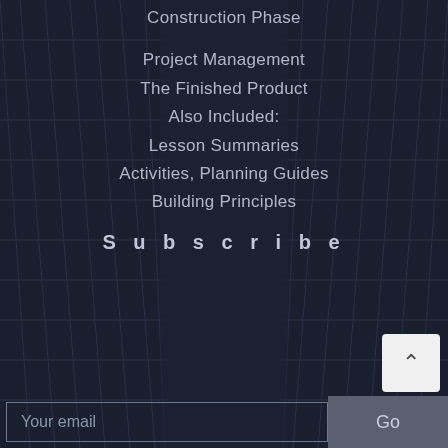Construction Phase
Project Management
The Finished Product
Also Included:
Lesson Summaries
Activities, Planning Guides
Building Principles
Subscribe
Your email
Go